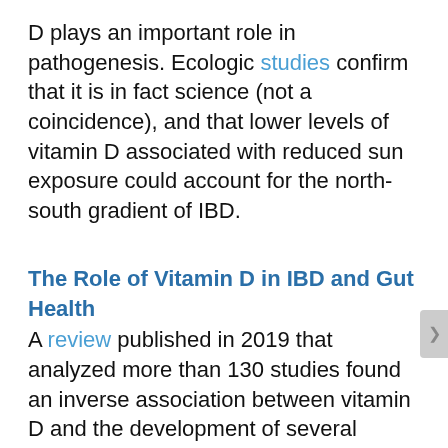D plays an important role in pathogenesis. Ecologic studies confirm that it is in fact science (not a coincidence), and that lower levels of vitamin D associated with reduced sun exposure could account for the north-south gradient of IBD.
The Role of Vitamin D in IBD and Gut Health
A review published in 2019 that analyzed more than 130 studies found an inverse association between vitamin D and the development of several autoimmune diseases, including Crohn's disease, ulcerative colitis, and IBD.  Although the mechanisms are not entirely clear, a